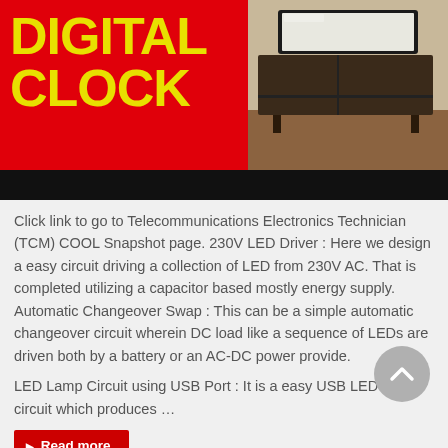[Figure (photo): Digital Clock promotional banner with bold yellow text 'DIGITAL CLOCK' on red background, and a photo of a TV/entertainment unit on the right, with a black bar at the bottom.]
Click link to go to Telecommunications Electronics Technician (TCM) COOL Snapshot page. 230V LED Driver : Here we design a easy circuit driving a collection of LED from 230V AC. That is completed utilizing a capacitor based mostly energy supply. Automatic Changeover Swap : This can be a simple automatic changeover circuit wherein DC load like a sequence of LEDs are driven both by a battery or an AC-DC power provide.
LED Lamp Circuit using USB Port : It is a easy USB LED Mild circuit which produces …
Read more